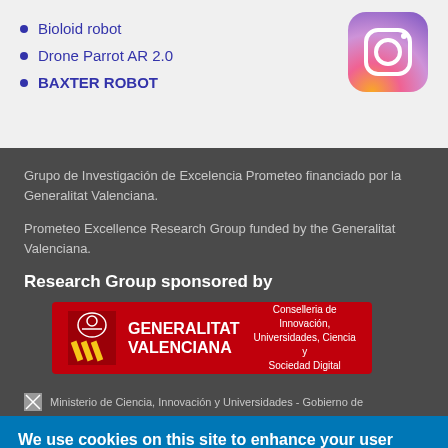Bioloid robot
Drone Parrot AR 2.0
BAXTER ROBOT
[Figure (logo): Instagram logo - colorful gradient camera icon with orange/pink/purple gradient]
Grupo de Investigación de Excelencia Prometeo financiado por la Generalitat Valenciana.
Prometeo Excellence Research Group funded by the Generalitat Valenciana.
Research Group sponsored by
[Figure (logo): Generalitat Valenciana red banner logo with coat of arms and text: GENERALITAT VALENCIANA / Conselleria de Innovación, Universidades, Ciencia y Sociedad Digital]
Ministerio de Ciencia, Innovación y Universidades - Gobierno de
We use cookies on this site to enhance your user experience
By clicking any link on this page you are giving your consent for us to set cookies.